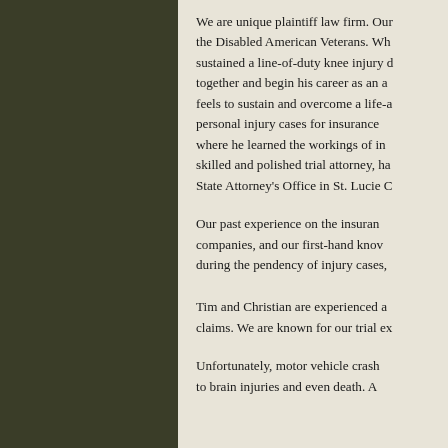We are unique plaintiff law firm. Our the Disabled American Veterans. Wh sustained a line-of-duty knee injury d together and begin his career as an a feels to sustain and overcome a life-a personal injury cases for insurance where he learned the workings of i skilled and polished trial attorney, ha State Attorney's Office in St. Lucie C
Our past experience on the insuran companies, and our first-hand kno during the pendency of injury cases,
Tim and Christian are experienced a claims. We are known for our trial ex
Unfortunately, motor vehicle crash to brain injuries and even death. A